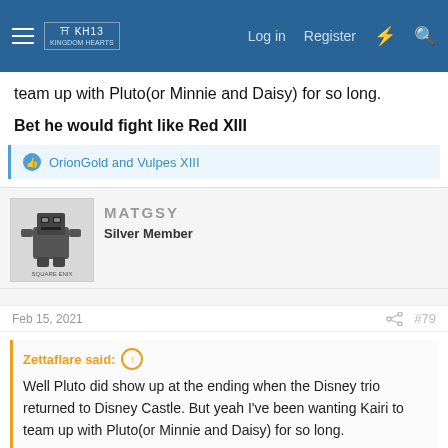Navigation bar with hamburger menu, logo, Log in, Register, and search icons
team up with Pluto(or Minnie and Daisy) for so long.
Bet he would fight like Red XIII
OrionGold and Vulpes XIII
MATGSY
Silver Member
Feb 15, 2021
#79
Zettaflare said:
Well Pluto did show up at the ending when the Disney trio returned to Disney Castle. But yeah I've been wanting Kairi to team up with Pluto(or Minnie and Daisy) for so long.

Bet he would fight like Red XIII
I suspect Pluto not allowed to be a fighter by Disney, which